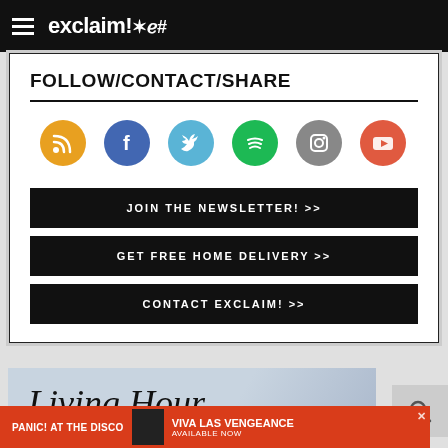exclaim!*e#
FOLLOW/CONTACT/SHARE
[Figure (infographic): Row of six social media icons: RSS (orange), Facebook (blue), Twitter (light blue), Spotify (green), Instagram (gray), YouTube (orange-red)]
JOIN THE NEWSLETTER!  >>
GET FREE HOME DELIVERY  >>
CONTACT EXCLAIM!  >>
[Figure (photo): Living Hour advertisement banner with italic serif text 'Living Hour' over a light background with partial image of a person]
[Figure (infographic): Panic! At The Disco - Viva Las Vengeance Available Now advertisement on red background]